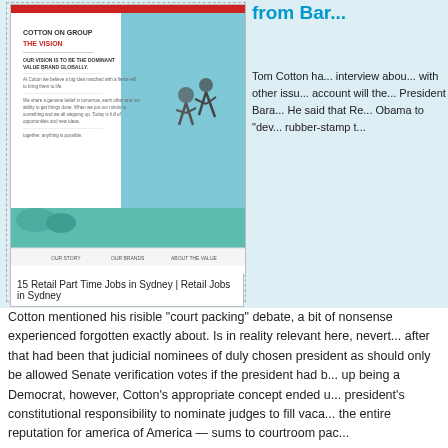[Figure (screenshot): Screenshot of a website showing 'Cotton on Group - The Vision' page with two people jumping against a blue sky background]
15 Retail Part Time Jobs in Sydney | Retail Jobs in Sydney
from Bar...
Tom Cotton ha... interview abou... with other issu... account will the... President Bara... He said that Re... Obama to "dev... rubber-stamp t...
Cotton mentioned his risible "court packing" debate, a bit of nonsense experienced forgotten exactly about. Is in reality relevant here, nevert... after that had been that judicial nominees of duly chosen president as should only be allowed Senate verification votes if the president had b... up being a Democrat, however, Cotton's appropriate concept ended u... president's constitutional responsibility to nominate judges to fill vaca... the entire reputation for america of America — sums to courtroom pac...
The issue then ended up being three vacancies regarding the D.C. Ci... was "packing" the courtroom by attempting to fill those vacancies (Bu... courtroom packing, needless to say; see Cotton's appropriate concep...